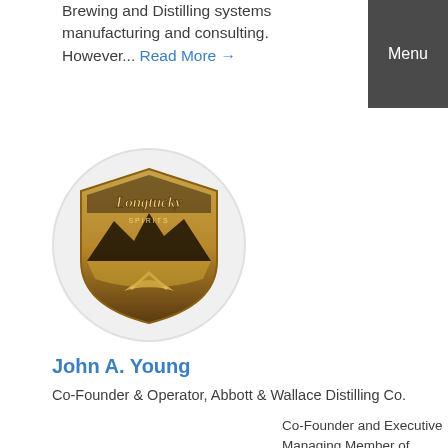Brewing and Distilling systems manufacturing and consulting. However... Read More →
Menu
[Figure (logo): Longtucky Spirits logo — shield/badge shape with mountain silhouette, road, and Longtucky script text in gold and dark brown tones, inside a circular frame]
John A. Young
Co-Founder & Operator, Abbott & Wallace Distilling Co.
Co-Founder and Executive Managing Member of Longtucky Spirits in downtown Longmont, CO. Located in the beautiful brick "Daily Times Call" building, Longtucky will feature barrel aged spirits hand crafted from local ingredients. Previously a brewer with